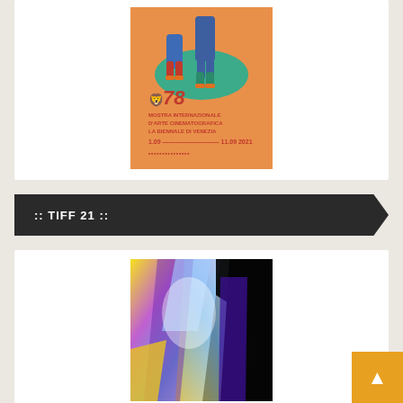[Figure (illustration): Venice Film Festival 78th edition poster showing two figures walking, with winged lion logo, text: MOSTRA INTERNAZIONALE D'ARTE CINEMATOGRAFICA LA BIENNALE DI VENEZIA 1.09 — 11.09 2021]
:: TIFF 21 ::
[Figure (photo): Abstract colorful prism/crystal photograph with rainbow light refraction patterns in yellow, blue, purple, pink, and white against black background]